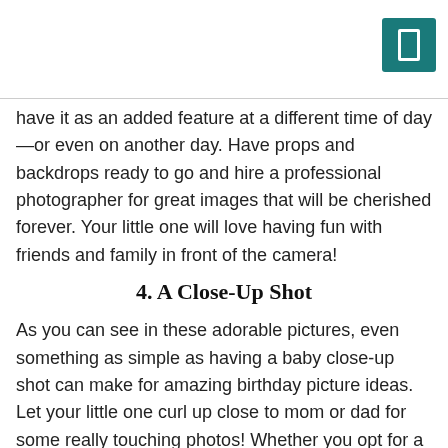have it as an added feature at a different time of day—or even on another day. Have props and backdrops ready to go and hire a professional photographer for great images that will be cherished forever. Your little one will love having fun with friends and family in front of the camera!
4. A Close-Up Shot
As you can see in these adorable pictures, even something as simple as having a baby close-up shot can make for amazing birthday picture ideas. Let your little one curl up close to mom or dad for some really touching photos! Whether you opt for a serious birthday photo shoot or just want to get silly, an up-close shot will